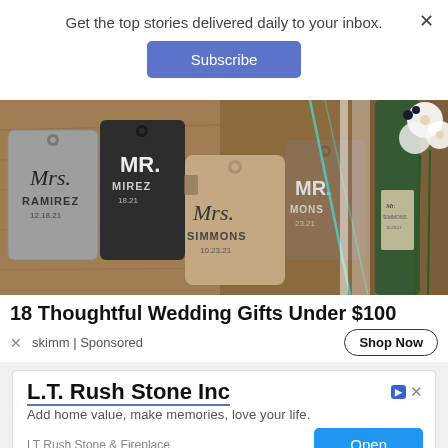Get the top stories delivered daily to your inbox.
[Figure (illustration): Subscribe button UI element - blue rounded rectangle with white text 'Subscribe']
[Figure (photo): Advertisement photo showing personalized leather luggage tags labeled Mrs. Ramirez, Mr. Ramirez, Mrs. Simmons, Mr. Simmons with dates, next to a wine bottle with white flowers]
18 Thoughtful Wedding Gifts Under $100
skimm | Sponsored
[Figure (illustration): Shop Now button - outlined rounded rectangle with bold text 'Shop Now']
[Figure (advertisement): L.T. Rush Stone Inc advertisement. Add home value, make memories, love your life. LT Rush Stone & Fireplace with Open button.]